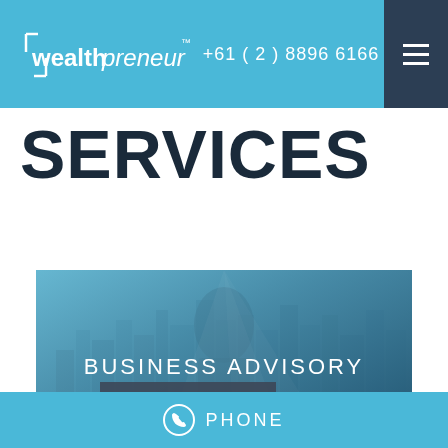wealthpreneur  +61 ( 2 ) 8896 6166
SERVICES
[Figure (photo): Business advisory promotional image showing a city skyline and person silhouette with blue tonal overlay, with 'BUSINESS ADVISORY' text and 'Read More' button]
PHONE